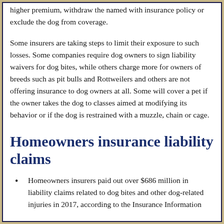higher premium, withdraw the named with insurance policy or exclude the dog from coverage.
Some insurers are taking steps to limit their exposure to such losses. Some companies require dog owners to sign liability waivers for dog bites, while others charge more for owners of breeds such as pit bulls and Rottweilers and others are not offering insurance to dog owners at all. Some will cover a pet if the owner takes the dog to classes aimed at modifying its behavior or if the dog is restrained with a muzzle, chain or cage.
Homeowners insurance liability claims
Homeowners insurers paid out over $686 million in liability claims related to dog bites and other dog-related injuries in 2017, according to the Insurance Information